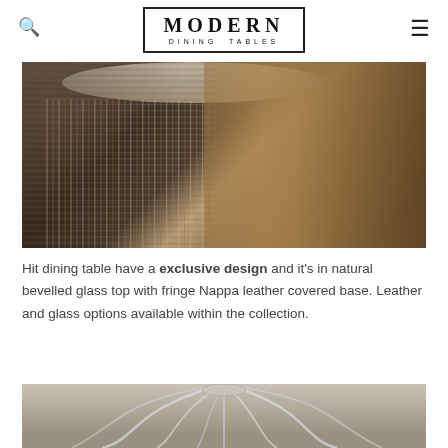MODERN DINING TABLES
[Figure (photo): Luxury round dining table with crystal fringe-covered base and leopard print chairs in a dark, glamorous interior setting]
Hit dining table have a exclusive design and it's in natural bevelled glass top with fringe Nappa leather covered base. Leather and glass options available within the collection.
[Figure (photo): Glass crystal chandelier with sweeping curved arms in a neutral-toned elegant interior]